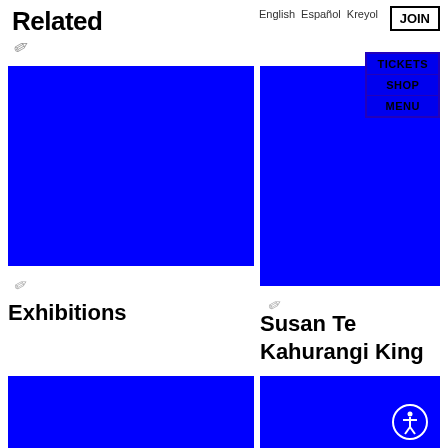Related
English  Español  Kreyol
JOIN
TICKETS
SHOP
MENU
[Figure (photo): Blue rectangle image, top left]
[Figure (photo): Blue rectangle image, top right with navigation overlay]
Exhibitions
Susan Te Kahurangi King
[Figure (photo): Blue rectangle image, bottom left]
[Figure (photo): Blue rectangle image, bottom right with accessibility icon]